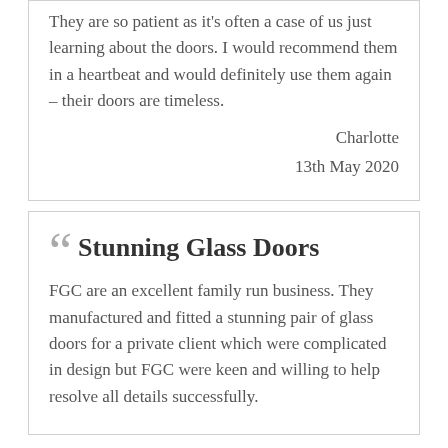They are so patient as it's often a case of us just learning about the doors. I would recommend them in a heartbeat and would definitely use them again – their doors are timeless.
Charlotte
13th May 2020
Stunning Glass Doors
FGC are an excellent family run business. They manufactured and fitted a stunning pair of glass doors for a private client which were complicated in design but FGC were keen and willing to help resolve all details successfully.